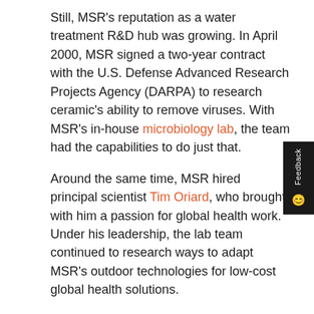Still, MSR's reputation as a water treatment R&D hub was growing. In April 2000, MSR signed a two-year contract with the U.S. Defense Advanced Research Projects Agency (DARPA) to research ceramic's ability to remove viruses. With MSR's in-house microbiology lab, the team had the capabilities to do just that.
Around the same time, MSR hired principal scientist Tim Oriard, who brought with him a passion for global health work. Under his leadership, the lab team continued to research ways to adapt MSR's outdoor technologies for low-cost global health solutions.
2008: Global health organizations begin to notice
In 2008, PATH, a leader in global health innovation, launched the Safe Water Project. Funded by the Bill & Melinda Gates Foundation, the project sought to better understand the role that commercial markets could